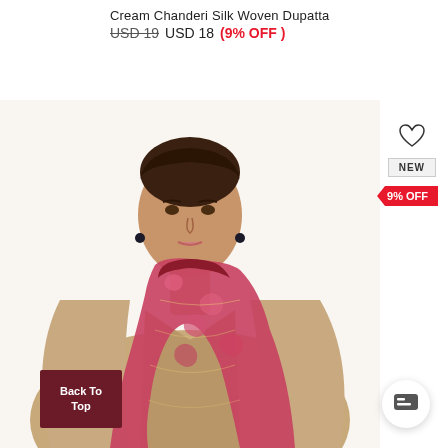Cream Chanderi Silk Woven Dupatta
USD 19  USD 18  (9% OFF)
[Figure (photo): A woman wearing a cream/tan blazer draped with a red and pink paisley woven dupatta (scarf), shown from shoulders up with dark hair pulled back. The dupatta has intricate woven patterns in shades of red, pink, and gold.]
NEW
9% OFF
Back To Top